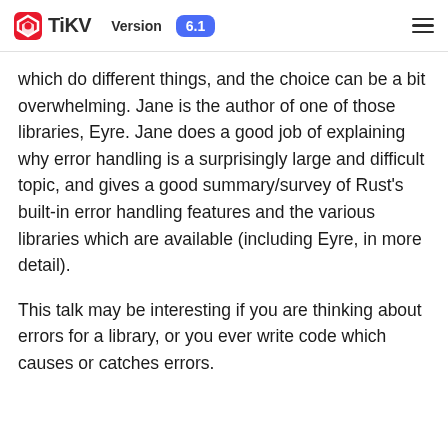TiKV Version 6.1
which do different things, and the choice can be a bit overwhelming. Jane is the author of one of those libraries, Eyre. Jane does a good job of explaining why error handling is a surprisingly large and difficult topic, and gives a good summary/survey of Rust's built-in error handling features and the various libraries which are available (including Eyre, in more detail).
This talk may be interesting if you are thinking about errors for a library, or you ever write code which causes or catches errors.